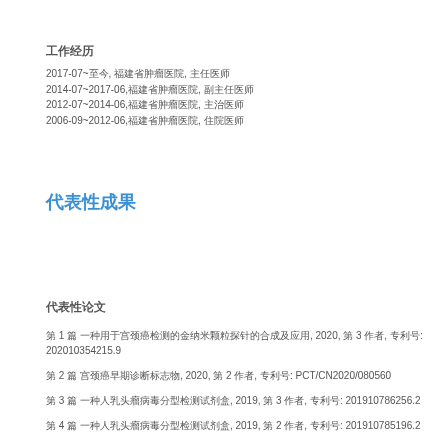工作经历
2017-07~至今, 福建省肿瘤医院, 主任医师
2014-07~2017-06,福建省肿瘤医院, 副主任医师
2012-07~2014-06,福建省肿瘤医院, 主治医师
2006-09~2012-06,福建省肿瘤医院, 住院医师
代表性成果
代表性论文
第 1 篇 一种用于宫颈癌检测的金纳米颗粒探针的合成及应用, 2020, 第 3 作者, 专利号: 202010354215.9
第 2 篇 宫颈癌早期诊断标志物, 2020, 第 2 作者, 专利号: PCT/CN2020/080560
第 3 篇 一种人乳头瘤病毒分型检测试剂盒, 2019, 第 3 作者, 专利号: 201910786256.2
第 4 篇 一种人乳头瘤病毒分型检测试剂盒, 2019, 第 2 作者, 专利号: 201910785196.2